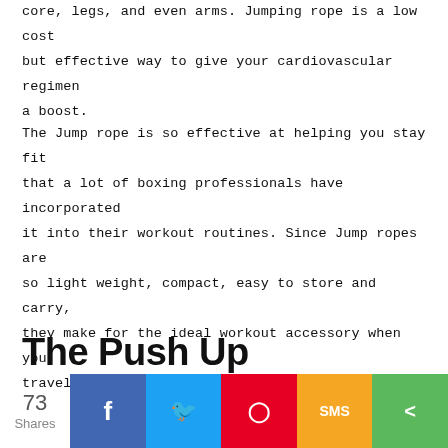core, legs, and even arms. Jumping rope is a low cost but effective way to give your cardiovascular regimen a boost.
The Jump rope is so effective at helping you stay fit that a lot of boxing professionals have incorporated it into their workout routines. Since Jump ropes are so light weight, compact, easy to store and carry, they make for the ideal workout accessory when you travel.
The Push Up
73 Shares